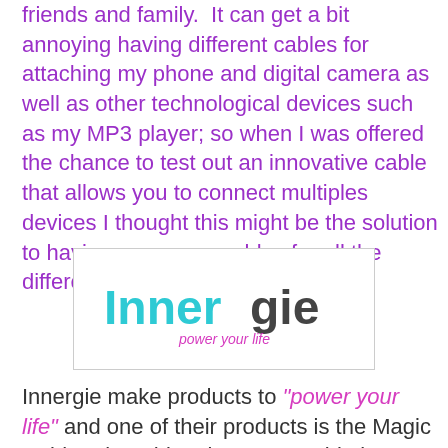friends and family.  It can get a bit annoying having different cables for attaching my phone and digital camera as well as other technological devices such as my MP3 player; so when I was offered the chance to test out an innovative cable that allows you to connect multiples devices I thought this might be the solution to having numerous cables for all the difference devices we use.
[Figure (logo): Innergie logo with 'power your life' tagline. The word 'Inner' is in cyan/teal and 'gie' is in dark gray. Below it says 'power your life' in magenta italic.]
Innergie make products to "power your life" and one of their products is the Magic Cable Trio.  This 3-in-1 USB cable is a multi-functioning cable that allows you to charge and sync numerous portable devices.  The magic cable enables people to connect and charge